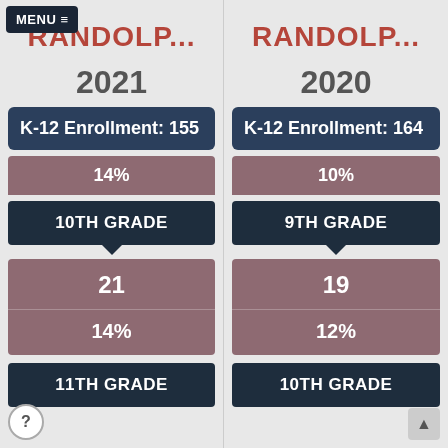MENU ≡
RANDOLP...
2021
K-12 Enrollment: 155
14%
10TH GRADE
21
14%
11TH GRADE
RANDOLP...
2020
K-12 Enrollment: 164
10%
9TH GRADE
19
12%
10TH GRADE